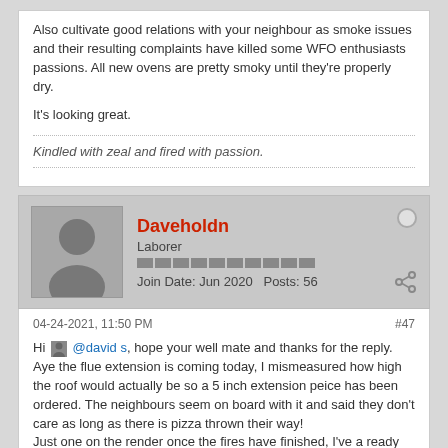Also cultivate good relations with your neighbour as smoke issues and their resulting complaints have killed some WFO enthusiasts passions. All new ovens are pretty smoky until they're properly dry.
It's looking great.
Kindled with zeal and fired with passion.
Daveholdn
Laborer
Join Date: Jun 2020   Posts: 56
04-24-2021, 11:50 PM
#47
Hi @david s, hope your well mate and thanks for the reply. Aye the flue extension is coming today, I mismeasured how high the roof would actually be so a 5 inch extension peice has been ordered. The neighbours seem on board with it and said they don't care as long as there is pizza thrown their way!
Just one on the render once the fires have finished, I've a ready mixed one coat render in bags, would this be OK to use? I read somewhere you add fibres? I've still a bag of fibres here from the homebrew stage so wouldn't be problem.
just a alter it to start the fires but on the diesel burner